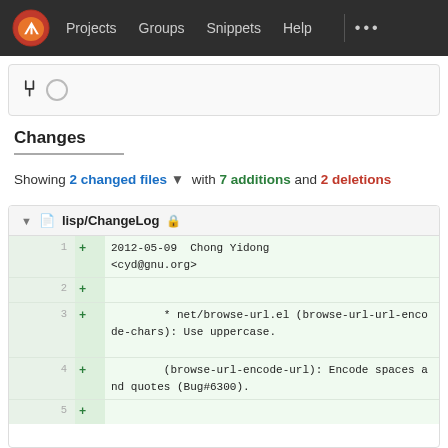Projects  Groups  Snippets  Help  ...
[Figure (screenshot): GitLab branch/loading icons area]
Changes
Showing 2 changed files ▾ with 7 additions and 2 deletions
lisp/ChangeLog file diff showing lines 1-5 with additions:
Line 1: + 2012-05-09  Chong Yidong <cyd@gnu.org>
Line 2: +
Line 3: +         * net/browse-url.el (browse-url-url-encode-chars): Use uppercase.
Line 4: +         (browse-url-encode-url): Encode spaces and quotes (Bug#6300).
Line 5: +